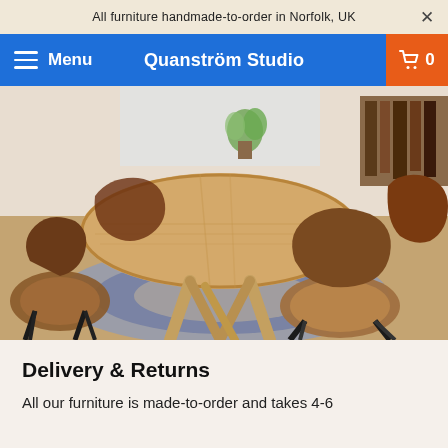All furniture handmade-to-order in Norfolk, UK
Menu  Quanström Studio  0
[Figure (photo): A round light-wood dining table with mid-century modern chairs in dark walnut and tan leather upholstery, placed on a round blue/natural jute rug on a wooden floor, photographed from slightly above.]
Delivery & Returns
All our furniture is made-to-order and takes 4-6